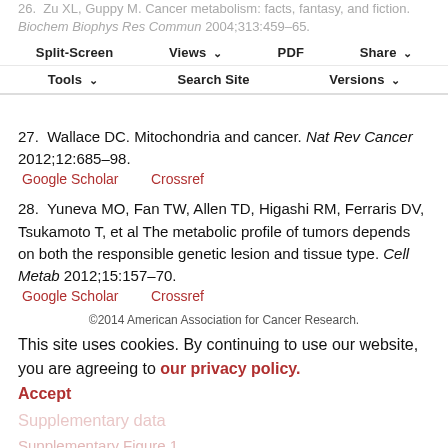26. Zu XL, Guppy M. Cancer metabolism: facts, fantasy, and fiction. Biochem Biophys Res Commun 2004;313:459–65. Google Scholar   Crossref
Split-Screen  Views  PDF  Share  Tools  Search Site  Versions
27. Wallace DC. Mitochondria and cancer. Nat Rev Cancer 2012;12:685–98.
Google Scholar   Crossref
28. Yuneva MO, Fan TW, Allen TD, Higashi RM, Ferraris DV, Tsukamoto T, et al The metabolic profile of tumors depends on both the responsible genetic lesion and tissue type. Cell Metab 2012;15:157–70.
Google Scholar   Crossref
©2014 American Association for Cancer Research.
This site uses cookies. By continuing to use our website, you are agreeing to our privacy policy. Accept
Supplementary data
Supplementary Figure 1
Supplementary Figure 1 legend